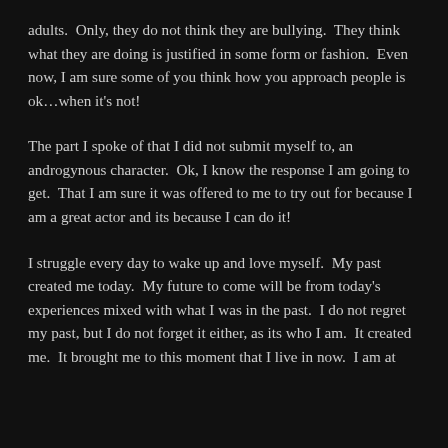adults.  Only, they do not think they are bullying.  They think what they are doing is justified in some form or fashion.  Even now, I am sure some of you think how you approach people is ok…when it's not!
The part I spoke of that I did not submit myself to, an androgynous character.  Ok, I know the response I am going to get.  That I am sure it was offered to me to try out for because I am a great actor and its because I can do it!
I struggle every day to wake up and love myself.  My past created me today.  My future to come will be from today's experiences mixed with what I was in the past.  I do not regret my past, but I do not forget it either, as its who I am.  It created me.  It brought me to this moment that I live in now.  I am at